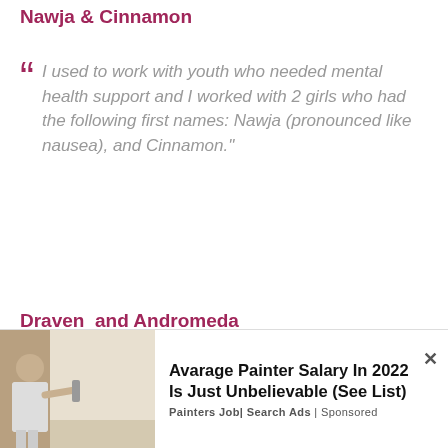Nawja & Cinnamon
I used to work with youth who needed mental health support and I worked with 2 girls who had the following first names: Nawja (pronounced like nausea), and Cinnamon."
Draven  and Andromeda
Full names: Draven Tyrion Dexter Zaraphil Johnson and Andromeda Nymphadora Jane Zaraphil Johnson.
My daughter named my grandchildren...
[Figure (infographic): Advertisement overlay showing a man painting a wall with ad text: Avarage Painter Salary In 2022 Is Just Unbelievable (See List) - Painters Job | Search Ads | Sponsored]